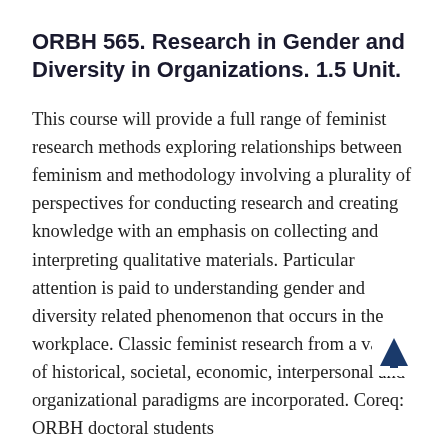ORBH 565. Research in Gender and Diversity in Organizations. 1.5 Unit.
This course will provide a full range of feminist research methods exploring relationships between feminism and methodology involving a plurality of perspectives for conducting research and creating knowledge with an emphasis on collecting and interpreting qualitative materials. Particular attention is paid to understanding gender and diversity related phenomenon that occurs in the workplace. Classic feminist research from a variety of historical, societal, economic, interpersonal and organizational paradigms are incorporated. Coreq: ORBH doctoral students